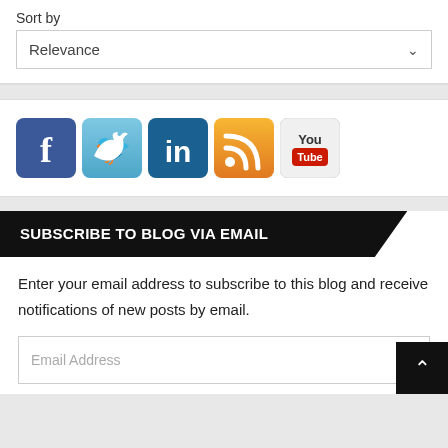Sort by
Relevance
[Figure (screenshot): Social media icon buttons: Facebook, Twitter, LinkedIn, RSS feed, YouTube]
SUBSCRIBE TO BLOG VIA EMAIL
Enter your email address to subscribe to this blog and receive notifications of new posts by email.
Email Address